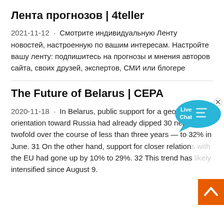Лента прогнозов | 4teller
2021-11-12 · Смотрите индивидуальную Ленту новостей, настроенную по вашим интересам. Настройте вашу ленту: подпишитесь на прогнозы и мнения авторов сайта, своих друзей, экспертов, СМИ или блогере
[Figure (other): Live Chat speech bubble widget overlay in teal/cyan color with 'Live Chat' text and an X close button]
The Future of Belarus | CEPA
2020-11-18 · In Belarus, public support for a geopolitical orientation toward Russia had already dipped 30 nearly twofold over the course of less than three years — to 32% in June. 31 On the other hand, support for closer relations with the EU had gone up by 10% to 29%. 32 This trend has likely intensified since August 9.
[Figure (other): Orange scroll-to-top arrow button in bottom right corner]